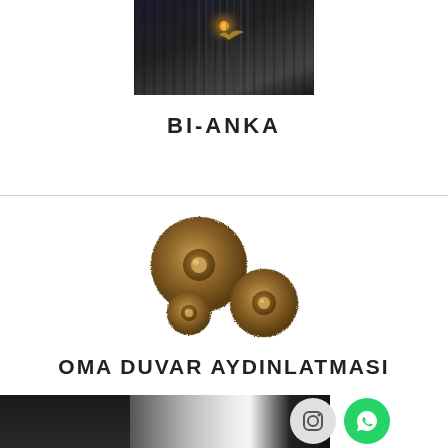[Figure (photo): Dark wall lamp / sconce product photo with gold light glow, BI-ANKA product line]
BI-ANKA
[Figure (photo): OMA DUVAR AYDINLATMASI - three antique bronze circular wall sconce discs with textured hammered surface, different sizes]
OMA DUVAR AYDINLATMASI
[Figure (photo): Bottom strip showing dark product images, gradient metallic panel, Instagram and WhatsApp social buttons]